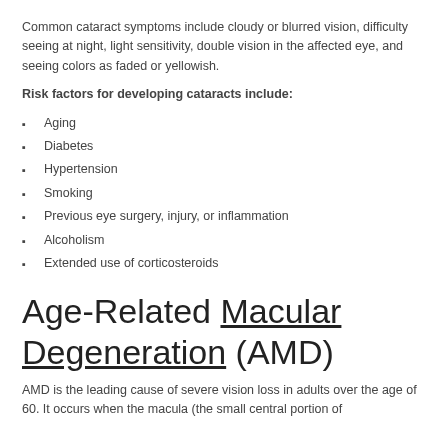Common cataract symptoms include cloudy or blurred vision, difficulty seeing at night, light sensitivity, double vision in the affected eye, and seeing colors as faded or yellowish.
Risk factors for developing cataracts include:
Aging
Diabetes
Hypertension
Smoking
Previous eye surgery, injury, or inflammation
Alcoholism
Extended use of corticosteroids
Age-Related Macular Degeneration (AMD)
AMD is the leading cause of severe vision loss in adults over the age of 60. It occurs when the macula (the small central portion of